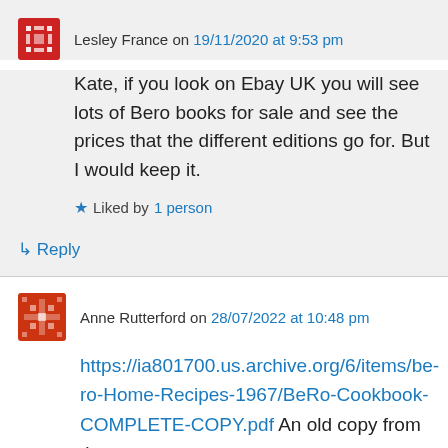Lesley France on 19/11/2020 at 9:53 pm
Kate, if you look on Ebay UK you will see lots of Bero books for sale and see the prices that the different editions go for. But I would keep it.
Liked by 1 person
Reply
Anne Rutterford on 28/07/2022 at 10:48 pm
https://ia801700.us.archive.org/6/items/be-ro-Home-Recipes-1967/BeRo-Cookbook-COMPLETE-COPY.pdf An old copy from the Internet Archive for those who are interested